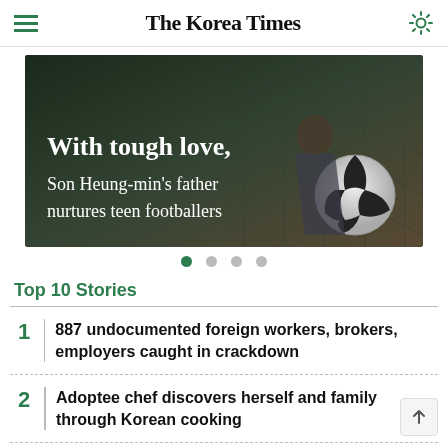The Korea Times
[Figure (photo): Hero image with dark background showing a soccer ball and a person, with text overlay reading 'With tough love, Son Heung-min's father nurtures teen footballers']
With tough love, Son Heung-min's father nurtures teen footballers
Top 10 Stories
1 | 887 undocumented foreign workers, brokers, employers caught in crackdown
2 | Adoptee chef discovers herself and family through Korean cooking
3 | How can Korea's taxi shortage be resolved?